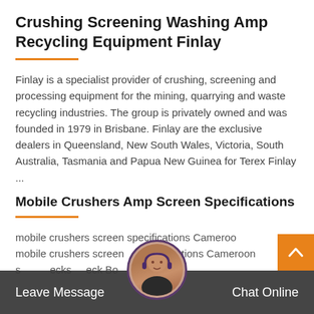Crushing Screening Washing Amp Recycling Equipment Finlay
Finlay is a specialist provider of crushing, screening and processing equipment for the mining, quarrying and waste recycling industries. The group is privately owned and was founded in 1979 in Brisbane. Finlay are the exclusive dealers in Queensland, New South Wales, Victoria, South Australia, Tasmania and Papua New Guinea for Terex Finlay ...
Mobile Crushers Amp Screen Specifications
mobile crushers screen specifications Cameroon mobile crushers screen specifications Cameroon s...